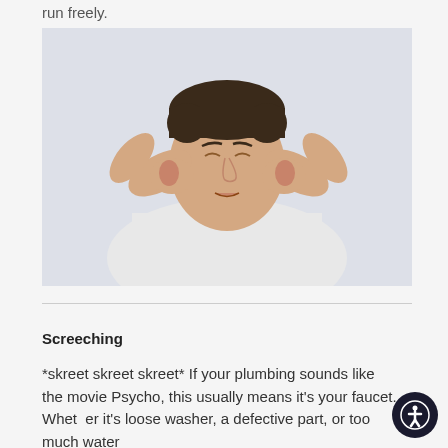run freely.
[Figure (photo): A man in a white t-shirt with eyes closed and a pained expression, pressing both hands against his ears as if blocking out loud noise. Background is light gray.]
Screeching
*skreet skreet skreet* If your plumbing sounds like the movie Psycho, this usually means it's your faucet. Whether it's loose washer, a defective part, or too much water